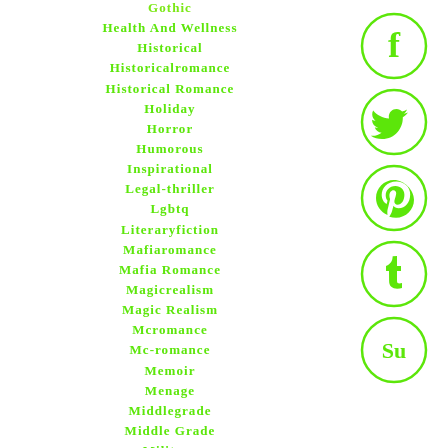Gothic
Health And Wellness
Historical
Historicalromance
Historical Romance
Holiday
Horror
Humorous
Inspirational
Legal-thriller
Lgbtq
Literaryfiction
Mafiaromance
Mafia Romance
Magicrealism
Magic Realism
Mcromance
Mc-romance
Memoir
Menage
Middlegrade
Middle Grade
Military
[Figure (infographic): Social media icons: Facebook, Twitter, Pinterest, Tumblr, StumbleUpon — each in a green circle outline]